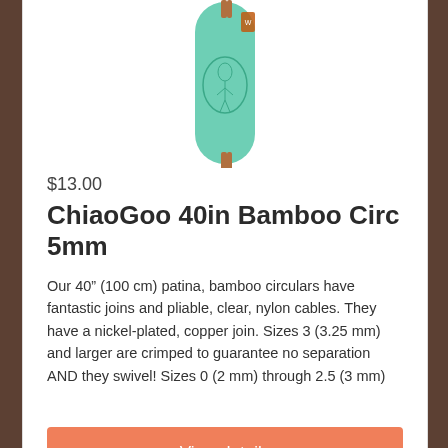[Figure (photo): Product photo of ChiaoGoo 40in Bamboo Circular 5mm knitting needles in a teal/green case with a decorative illustration]
$13.00
ChiaoGoo 40in Bamboo Circ 5mm
Our 40” (100 cm) patina, bamboo circulars have fantastic joins and pliable, clear, nylon cables. They have a nickel-plated, copper join. Sizes 3 (3.25 mm) and larger are crimped to guarantee no separation AND they swivel! Sizes 0 (2 mm) through 2.5 (3 mm)
View details